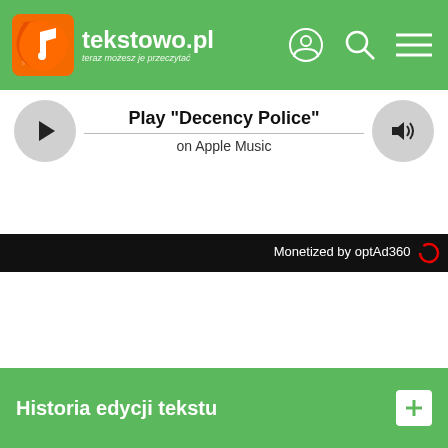tekstowo.pl - teraz możesz je przeczytać
[Figure (screenshot): Media player widget showing Play 'Decency Police' on Apple Music with play button on left and volume button on right]
Monetized by optAd360
Historia edycji tekstu